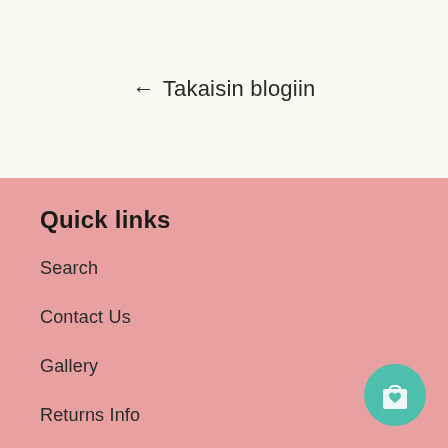← Takaisin blogiin
Quick links
Search
Contact Us
Gallery
Returns Info
[Figure (illustration): Teal/green circular shopping bag icon with a heart symbol at the bottom right corner]